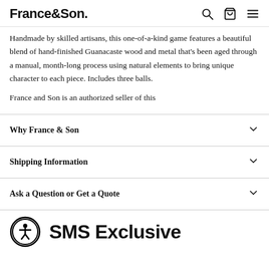France&Son
Handmade by skilled artisans, this one-of-a-kind game features a beautiful blend of hand-finished Guanacaste wood and metal that's been aged through a manual, month-long process using natural elements to bring unique character to each piece. Includes three balls.

France and Son is an authorized seller of this
Why France & Son
Shipping Information
Ask a Question or Get a Quote
SMS Exclusive